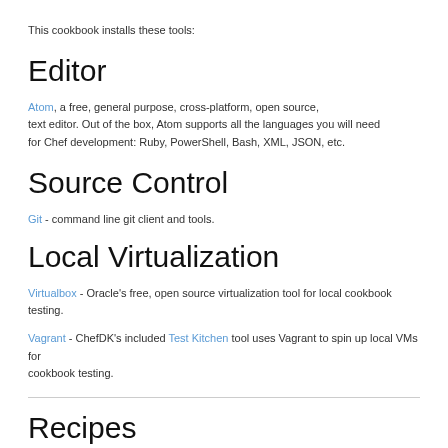This cookbook installs these tools:
Editor
Atom, a free, general purpose, cross-platform, open source, text editor. Out of the box, Atom supports all the languages you will need for Chef development: Ruby, PowerShell, Bash, XML, JSON, etc.
Source Control
Git - command line git client and tools.
Local Virtualization
Virtualbox - Oracle's free, open source virtualization tool for local cookbook testing.
Vagrant - ChefDK's included Test Kitchen tool uses Vagrant to spin up local VMs for cookbook testing.
Recipes